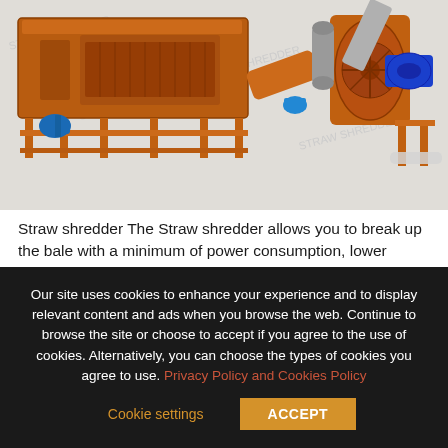[Figure (illustration): 3D CAD rendering of an industrial straw shredder machine in orange/brown color with blue electric motors, auger conveyor, and support frame structure on a light grey watermarked background.]
Straw shredder The Straw shredder allows you to break up the bale with a minimum of power consumption, lower noise, lower auger speeds and a minimum of wear and tear on the machinery. Consequently it is a highly durable system that can handle stones and other
Our site uses cookies to enhance your experience and to display relevant content and ads when you browse the web. Continue to browse the site or choose to accept if you agree to the use of cookies. Alternatively, you can choose the types of cookies you agree to use. Privacy Policy and Cookies Policy
Cookie settings
ACCEPT